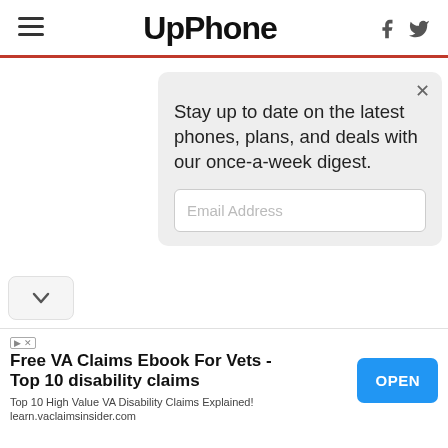UpPhone
Stay up to date on the latest phones, plans, and deals with our once-a-week digest.
Email Address
[Figure (screenshot): Advertisement: Free VA Claims Ebook For Vets - Top 10 disability claims. Top 10 High Value VA Disability Claims Explained! learn.vaclaimsinsider.com. OPEN button.]